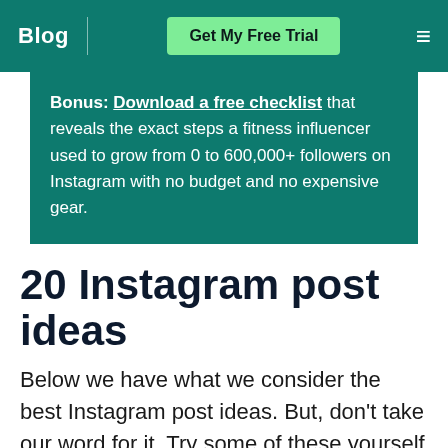Blog | Get My Free Trial ≡
Bonus: Download a free checklist that reveals the exact steps a fitness influencer used to grow from 0 to 600,000+ followers on Instagram with no budget and no expensive gear.
20 Instagram post ideas
Below we have what we consider the best Instagram post ideas. But, don't take our word for it. Try some of these yourself and see how they do!